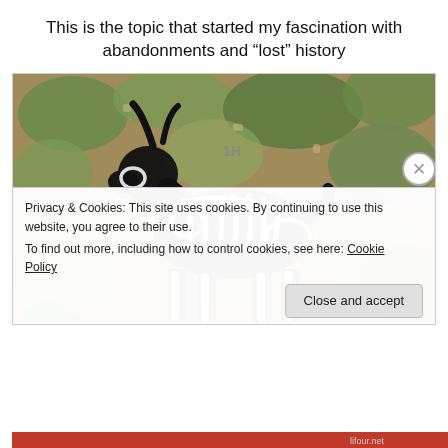This is the topic that started my fascination with abandonments and “lost” history
[Figure (photo): A painted or stenciled image of a goat/animal skeleton on a weathered, mottled green and tan textured wall. The animal is black with white skeleton bones painted over it. Text '1H' is visible on the wall.]
Privacy & Cookies: This site uses cookies. By continuing to use this website, you agree to their use.
To find out more, including how to control cookies, see here: Cookie Policy